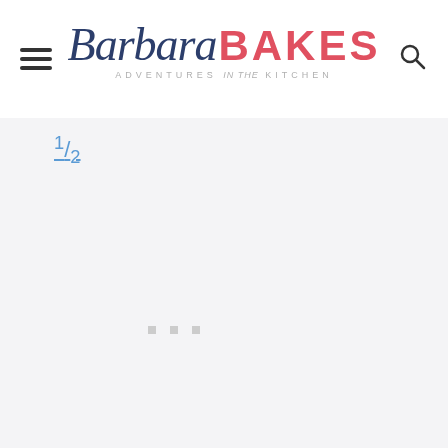Barbara BAKES — ADVENTURES in the KITCHEN
½
[Figure (other): Three small square loading indicator dots in gray]